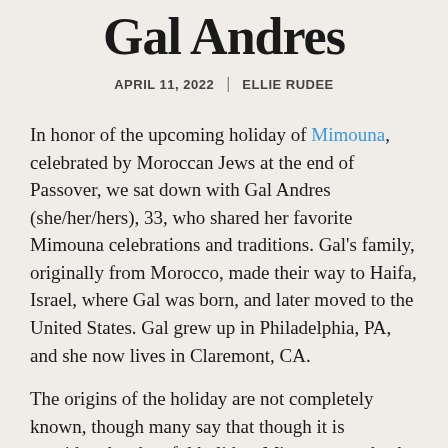Gal Andres
APRIL 11, 2022 | ELLIE RUDEE
In honor of the upcoming holiday of Mimouna, celebrated by Moroccan Jews at the end of Passover, we sat down with Gal Andres (she/her/hers), 33, who shared her favorite Mimouna celebrations and traditions. Gal's family, originally from Morocco, made their way to Haifa, Israel, where Gal was born, and later moved to the United States. Gal grew up in Philadelphia, PA, and she now lives in Claremont, CA.
The origins of the holiday are not completely known, though many say that though it is considered a cheerful holiday, Mimouna marks the